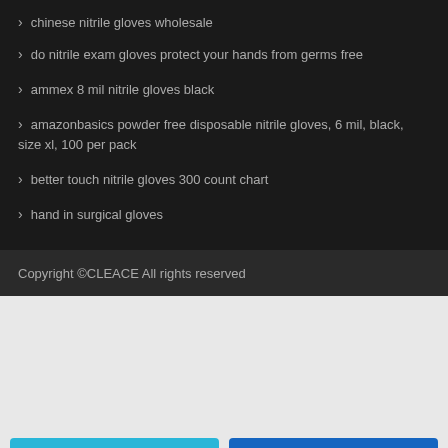chinese nitrile gloves wholesale
do nitrile exam gloves protect your hands from germs free
ammex 8 mil nitrile gloves black
amazonbasics powder free disposable nitrile gloves, 6 mil, black, size xl, 100 per pack
better touch nitrile gloves 300 count chart
hand in surgical gloves
Copyright ©CLEACE All rights reserved
Chat online
WhatsApp